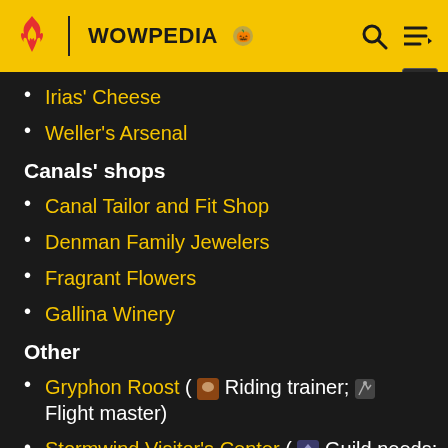WOWPEDIA
Irias' Cheese
Weller's Arsenal
Canals' shops
Canal Tailor and Fit Shop
Denman Family Jewelers
Fragrant Flowers
Gallina Winery
Other
Gryphon Roost ( Riding trainer; Flight master)
Stormwind Visitor's Center ( Guild needs: guild master, tabard design, and vendor)
Stormwind Counting House (Bank)
Trader's Hall (Auction House)